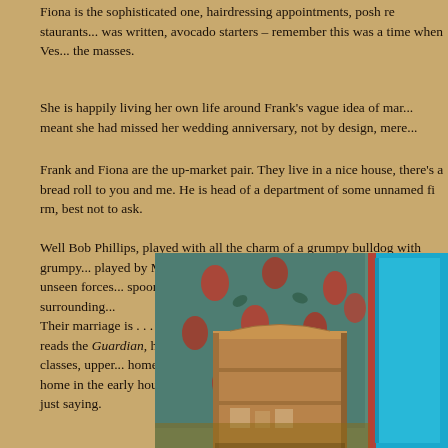Fiona is the sophisticated one, hairdressing appointments, posh restaurants... was written, avocado starters – remember this was a time when Ve... the masses.
She is happily living her own life around Frank's vague idea of marriage... meant she had missed her wedding anniversary, not by design, merely...
Frank and Fiona are the up-market pair. They live in a nice house, there's a bread roll to you and me. He is head of a department of some unnamed fi... ask.
Well Bob Phillips, played with all the charm of a grumpy bulldog w... played by Maureen Smojkis, who has a constant battle with unseen... spoons, cover himself in prunes and generally wreck any surroundi...
Their marriage is . . . let's just say it's more of a constant skirmish, Guardian, he, well, just angry. In Ayckbourn's examination of class... home and lower aspirations. Bob, incidentally, arrived home in the... the same night Fiona made her late return home – just saying.
[Figure (photo): Interior room photo showing a wooden shelving unit/bookcase against a teal floral wallpaper, with a red wall visible on the right edge and a bright blue area in the top right corner.]